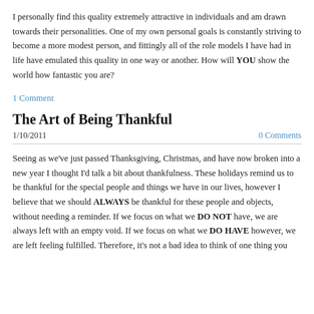I personally find this quality extremely attractive in individuals and am drawn towards their personalities.  One of my own personal goals is constantly striving to become a more modest person, and fittingly all of the role models I have had in life have emulated this quality in one way or another.  How will YOU show the world how fantastic you are?
1 Comment
The Art of Being Thankful
1/10/2011    0 Comments
Seeing as we've just passed Thanksgiving, Christmas, and have now broken into a new year I thought I'd talk a bit about thankfulness.  These holidays remind us to be thankful for the special people and things we have in our lives, however I believe that we should ALWAYS be thankful for these people and objects, without needing a reminder.  If we focus on what we DO NOT have, we are always left with an empty void.  If we focus on what we DO HAVE however, we are left feeling fulfilled.  Therefore, it's not a bad idea to think of one thing you